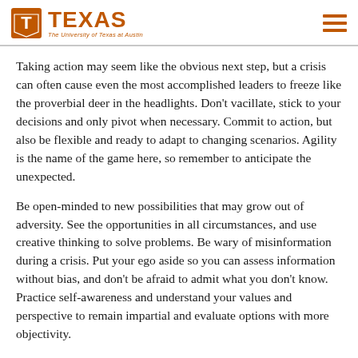TEXAS – The University of Texas at Austin
Taking action may seem like the obvious next step, but a crisis can often cause even the most accomplished leaders to freeze like the proverbial deer in the headlights. Don’t vacillate, stick to your decisions and only pivot when necessary. Commit to action, but also be flexible and ready to adapt to changing scenarios. Agility is the name of the game here, so remember to anticipate the unexpected.
Be open-minded to new possibilities that may grow out of adversity. See the opportunities in all circumstances, and use creative thinking to solve problems. Be wary of misinformation during a crisis. Put your ego aside so you can assess information without bias, and don’t be afraid to admit what you don’t know. Practice self-awareness and understand your values and perspective to remain impartial and evaluate options with more objectivity.
5. Meet the Needs of Your People